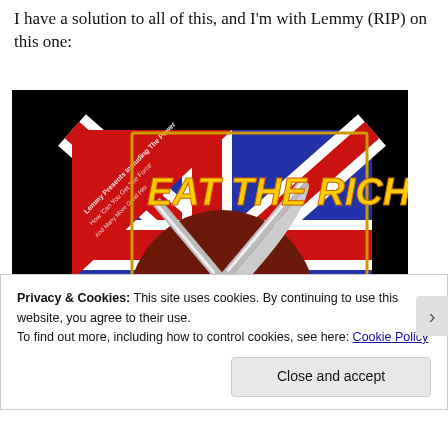I have a solution to all of this, and I'm with Lemmy (RIP) on this one:
[Figure (illustration): Movie/album cover for 'Eat The Rich!' featuring a fierce face with crossed knife and fork, Union Jack flag in background, red banner in top-left corner with text, on black background.]
Privacy & Cookies: This site uses cookies. By continuing to use this website, you agree to their use.
To find out more, including how to control cookies, see here: Cookie Policy